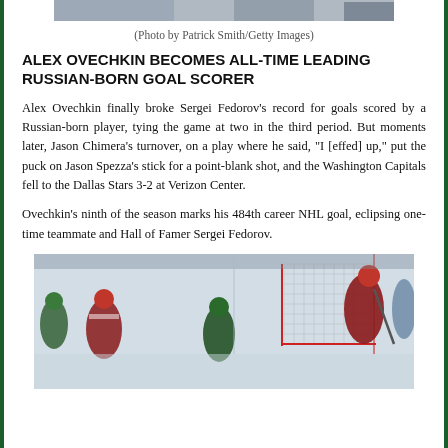[Figure (photo): Hockey players on ice, partial view at top of page]
(Photo by Patrick Smith/Getty Images)
ALEX OVECHKIN BECOMES ALL-TIME LEADING RUSSIAN-BORN GOAL SCORER
Alex Ovechkin finally broke Sergei Fedorov’s record for goals scored by a Russian-born player, tying the game at two in the third period. But moments later, Jason Chimera’s turnover, on a play where he said, “I [effed] up,” put the puck on Jason Spezza’s stick for a point-blank shot, and the Washington Capitals fell to the Dallas Stars 3-2 at Verizon Center.
Ovechkin’s ninth of the season marks his 484th career NHL goal, eclipsing one-time teammate and Hall of Famer Sergei Fedorov.
[Figure (photo): Hockey action photo showing Washington Capitals and Dallas Stars players near the goal during the game]